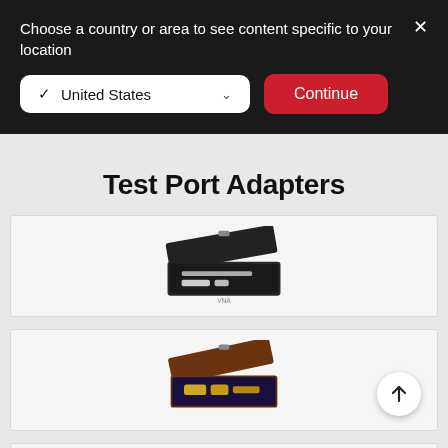Choose a country or area to see content specific to your location
✓ United States ∨
Continue
Test Port Adapters
[Figure (photo): An open black protective case containing test port adapter instruments — a rod/probe and small connectors — on dark foam padding, with a metal latch visible at the top.]
[Figure (photo): An open dark brown/burgundy protective case containing gold-colored test port adapter connectors and accessories on dark blue/purple foam padding, with a metal latch visible at the top.]